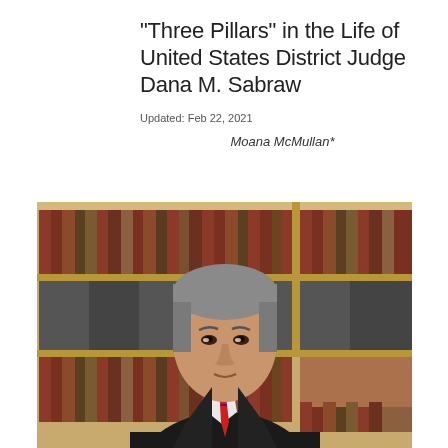"Three Pillars" in the Life of United States District Judge Dana M. Sabraw
Updated: Feb 22, 2021
Moana McMullan*
[Figure (photo): Portrait photograph of United States District Judge Dana M. Sabraw in black judicial robes with a red and blue tie, standing in front of a bookshelf filled with law books.]